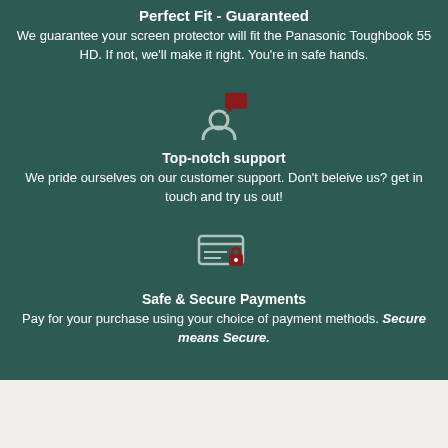Perfect Fit - Guaranteed
We guarantee your screen protector will fit the Panasonic Toughbook 55 HD. If not, we'll make it right. You're in safe hands.
[Figure (illustration): Person with speech bubble / notification icon in teal and red]
Top-notch support
We pride ourselves on our customer support. Don't beleive us? get in touch and try us out!
[Figure (illustration): Secure payment / credit card with lock icon in teal and red]
Safe & Secure Payments
Pay for your purchase using your choice of payment methods. Secure means Secure.